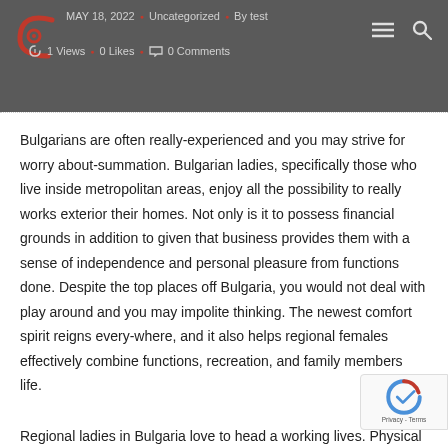MAY 18, 2022 · Uncategorized · By test · 1 Views · 0 Likes · 0 Comments
Bulgarians are often really-experienced and you may strive for worry about-summation. Bulgarian ladies, specifically those who live inside metropolitan areas, enjoy all the possibility to really works exterior their homes. Not only is it to possess financial grounds in addition to given that business provides them with a sense of independence and personal pleasure from functions done. Despite the top places off Bulgaria, you would not deal with play around and you may impolite thinking. The newest comfort spirit reigns every-where, and it also helps regional females effectively combine functions, recreation, and family members life.
Regional ladies in Bulgaria love to head a working lives. Physical